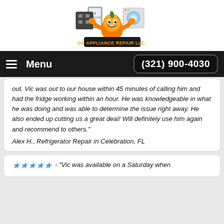[Figure (logo): OC Appliance Repair LLC logo featuring an orange cartoon mascot holding appliances, with stove, refrigerator, and washing machine in background, text 'OC APPLIANCE REPAIR LLC.' below]
Menu   (321) 900-4030
out. Vic was out to our house within 45 minutes of calling him and had the fridge working within an hour. He was knowledgeable in what he was doing and was able to determine the issue right away. He also ended up cutting us a great deal! Will definitely use him again and recommend to others."
Alex H., Refrigerator Repair in Celebration, FL
★★★★★ - "Vic was available on a Saturday when